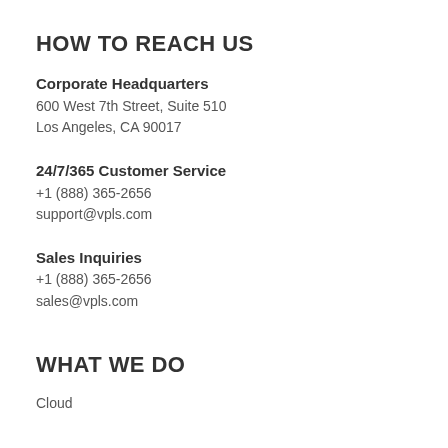HOW TO REACH US
Corporate Headquarters
600 West 7th Street, Suite 510
Los Angeles, CA 90017
24/7/365 Customer Service
+1 (888) 365-2656
support@vpls.com
Sales Inquiries
+1 (888) 365-2656
sales@vpls.com
WHAT WE DO
Cloud